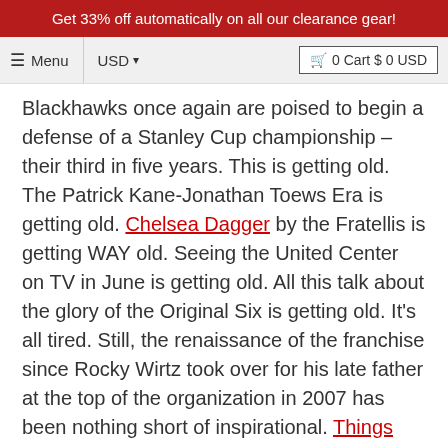Get 33% off automatically on all our clearance gear!
≡ Menu  USD ▾   🛒 0 Cart $ 0 USD
Blackhawks once again are poised to begin a defense of a Stanley Cup championship – their third in five years. This is getting old. The Patrick Kane-Jonathan Toews Era is getting old. Chelsea Dagger by the Fratellis is getting WAY old. Seeing the United Center on TV in June is getting old. All this talk about the glory of the Original Six is getting old. It's all tired. Still, the renaissance of the franchise since Rocky Wirtz took over for his late father at the top of the organization in 2007 has been nothing short of inspirational. Things were awful before that, but it's hard to imagine a more enjoyable team to root for now than the Blackhawks. You know what, though? The Chicago Blackhawks might finally be on the verge of a fall. Or at least a stumble. Too many core players have